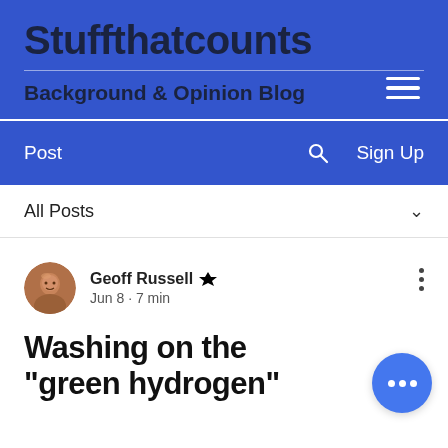Stuffthatcounts
Background & Opinion Blog
Post
Sign Up
All Posts
Geoff Russell  Admin
Jun 8 · 7 min
Washing on the "green hydrogen" ...